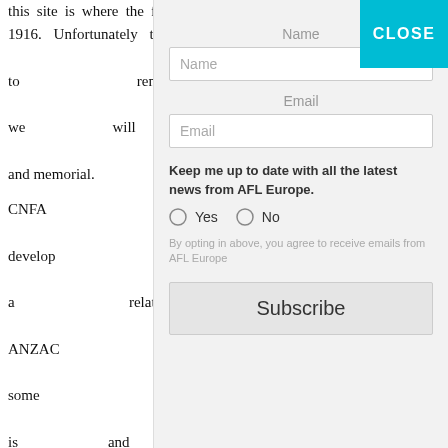this site is where the first Australians played football in France, in 1916. Unfortunately this year the event has reverted back to ... to rent the field ... we will be able t... and memorial.

CNFA continue to ... develop the gam... a relative lack of ... ANZAC Cup. This... some waves and... is and that it is... French one.

Villers-Bretonne... Victoria Street, ... there is an unu... Australia. It is natural that CNFA continue to play a role in
[Figure (screenshot): A modal/popup dialog with Name and Email input fields, a newsletter opt-in radio button (Yes/No) for AFL Europe updates, fine print about opting in, and a Subscribe button. A teal CLOSE button appears in the top-right corner.]